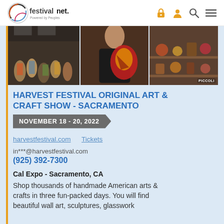festivalnet. Powered by Peoples
[Figure (photo): Three-panel photo strip showing crowd at an indoor arts and crafts festival, a vendor with colorful crafts, and decorative items on display. PICCOLI watermark bottom right.]
HARVEST FESTIVAL ORIGINAL ART & CRAFT SHOW - SACRAMENTO
NOVEMBER 18 - 20, 2022
harvestfestival.com   Tickets
in***@harvestfestival.com
(925) 392-7300
Cal Expo - Sacramento, CA
Shop thousands of handmade American arts & crafts in three fun-packed days. You will find beautiful wall art, sculptures, glasswork